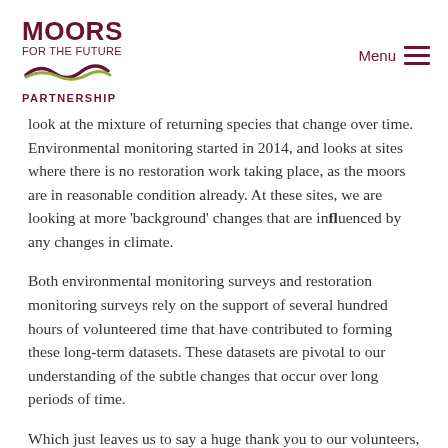MOORS FOR THE FUTURE PARTNERSHIP — Menu
look at the mixture of returning species that change over time. Environmental monitoring started in 2014, and looks at sites where there is no restoration work taking place, as the moors are in reasonable condition already. At these sites, we are looking at more ‘background’ changes that are influenced by any changes in climate.
Both environmental monitoring surveys and restoration monitoring surveys rely on the support of several hundred hours of volunteered time that have contributed to forming these long-term datasets. These datasets are pivotal to our understanding of the subtle changes that occur over long periods of time.
Which just leaves us to say a huge thank you to our volunteers, and welcome back – thank you for your patience - we look forward to see you (from a distance) on the hill.